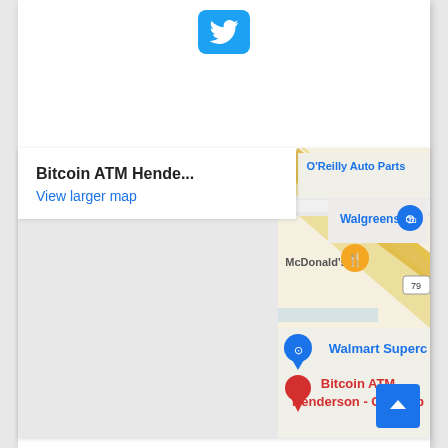[Figure (logo): Twitter bird logo icon, white bird on blue rounded-rectangle button]
[Figure (map): Google Maps screenshot showing Bitcoin ATM Henderson - Coinhub location, with O'Reilly Auto Parts, Walgreens, McDonald's, Walmart Supercenter nearby. Info box shows 'Bitcoin ATM Hende...' and 'View larger map' link. Red pin marks Bitcoin ATM Henderson - Coinhub. Blue pin marks another location. Highway 79 visible.]